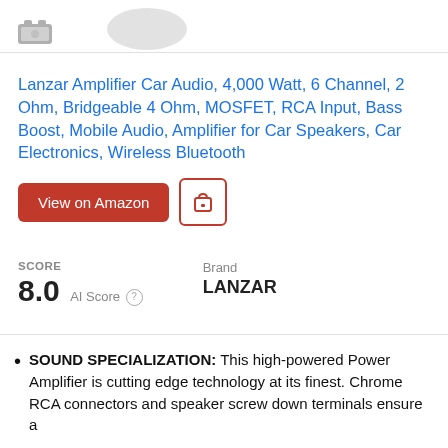[Figure (photo): Partial product image area showing a small device icon and a blurred circular product silhouette at the top of the page]
Lanzar Amplifier Car Audio, 4,000 Watt, 6 Channel, 2 Ohm, Bridgeable 4 Ohm, MOSFET, RCA Input, Bass Boost, Mobile Audio, Amplifier for Car Speakers, Car Electronics, Wireless Bluetooth
View on Amazon [button] [bag icon button]
SCORE
8.0 AI Score
Brand
LANZAR
SOUND SPECIALIZATION: This high-powered Power Amplifier is cutting edge technology at its finest. Chrome RCA connectors and speaker screw down terminals ensure a